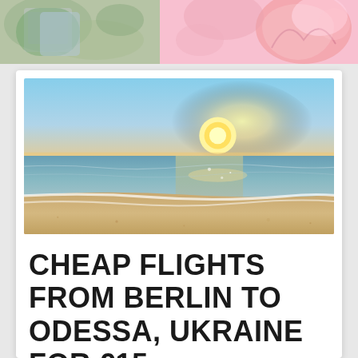[Figure (photo): Top banner with two photos: left side shows a person outdoors with green foliage background, right side shows a pink/rose themed decorative image with silhouette figures]
[Figure (photo): Wide panoramic beach sunset photo showing golden sun low on horizon over calm sea with gentle waves on sandy beach, warm orange and golden tones]
CHEAP FLIGHTS FROM BERLIN TO ODESSA, UKRAINE FOR €15